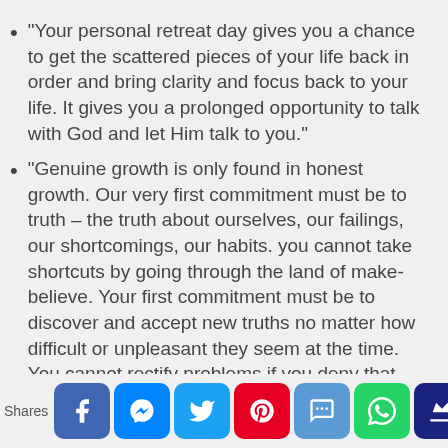“Your personal retreat day gives you a chance to get the scattered pieces of your life back in order and bring clarity and focus back to your life. It gives you a prolonged opportunity to talk with God and let Him talk to you.”
“Genuine growth is only found in honest growth. Our very first commitment must be to truth – the truth about ourselves, our failings, our shortcomings, our habits. you cannot take shortcuts by going through the land of make-believe. Your first commitment must be to discover and accept new truths no matter how difficult or unpleasant they seem at the time. You cannot rectify problems if you deny that they exist.”
“People’s needs are great, and their